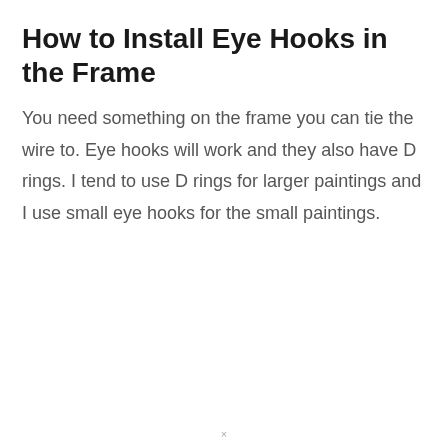How to Install Eye Hooks in the Frame
You need something on the frame you can tie the wire to. Eye hooks will work and they also have D rings. I tend to use D rings for larger paintings and I use small eye hooks for the small paintings.